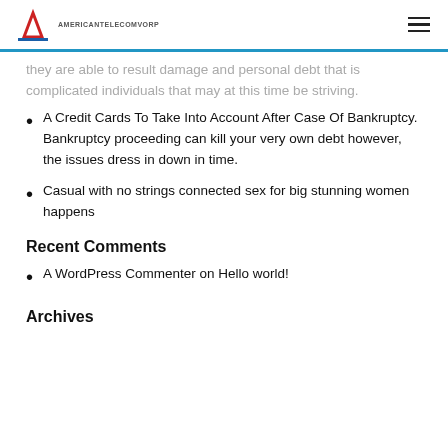AMERICANTELECOMVORP
they are able to result damage and personal debt that is complicated individuals that may at this time be striving.
A Credit Cards To Take Into Account After Case Of Bankruptcy. Bankruptcy proceeding can kill your very own debt however, the issues dress in down in time.
Casual with no strings connected sex for big stunning women happens
Recent Comments
A WordPress Commenter on Hello world!
Archives